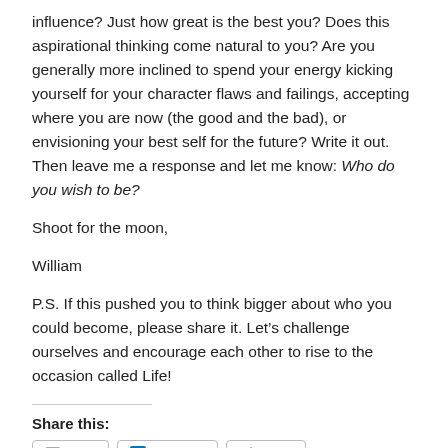influence? Just how great is the best you? Does this aspirational thinking come natural to you? Are you generally more inclined to spend your energy kicking yourself for your character flaws and failings, accepting where you are now (the good and the bad), or envisioning your best self for the future? Write it out. Then leave me a response and let me know: Who do you wish to be?
Shoot for the moon,
William
P.S. If this pushed you to think bigger about who you could become, please share it. Let’s challenge ourselves and encourage each other to rise to the occasion called Life!
Share this: